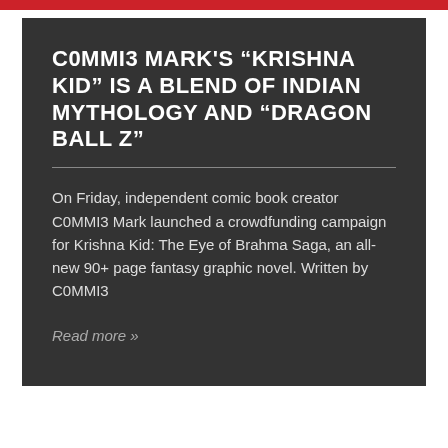C0MMI3 MARK'S “KRISHNA KID” IS A BLEND OF INDIAN MYTHOLOGY AND “DRAGON BALL Z”
On Friday, independent comic book creator C0MMI3 Mark launched a crowdfunding campaign for Krishna Kid: The Eye of Brahma Saga, an all-new 90+ page fantasy graphic novel. Written by C0MMI3
Read more »